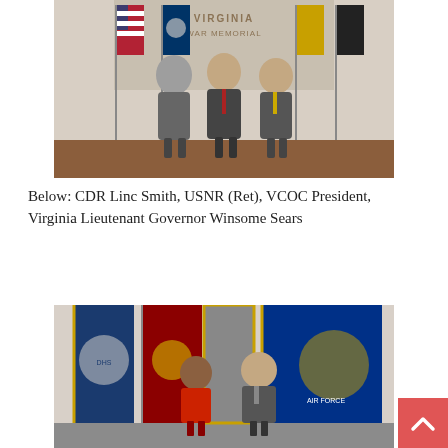[Figure (photo): Three men in suits standing in front of flags including the US flag, Virginia state flag, and other flags, in front of a Virginia War Memorial backdrop.]
Below: CDR Linc Smith, USNR (Ret), VCOC President, Virginia Lieutenant Governor Winsome Sears
[Figure (photo): A woman in a red jacket and a man in a suit standing in front of military branch flags including Marine Corps, Air Force, and other service flags.]